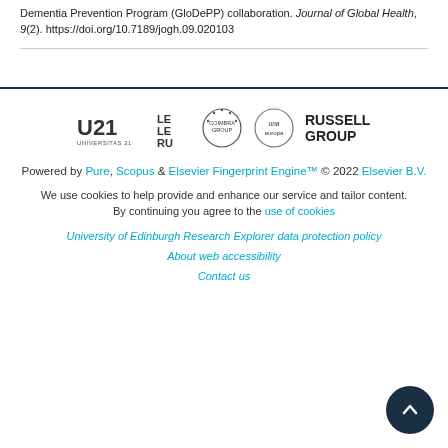Dementia Prevention Program (GloDePP) collaboration. Journal of Global Health, 9(2). https://doi.org/10.7189/jogh.09.020103
[Figure (logo): Row of university/research consortium logos: Universitas 21, LERU, Coimbra Group, Una Europa, Russell Group]
Powered by Pure, Scopus & Elsevier Fingerprint Engine™ © 2022 Elsevier B.V.
We use cookies to help provide and enhance our service and tailor content. By continuing you agree to the use of cookies
University of Edinburgh Research Explorer data protection policy
About web accessibility
Contact us